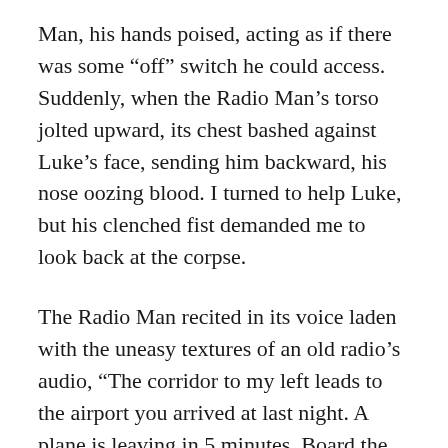Man, his hands poised, acting as if there was some “off” switch he could access. Suddenly, when the Radio Man’s torso jolted upward, its chest bashed against Luke’s face, sending him backward, his nose oozing blood. I turned to help Luke, but his clenched fist demanded me to look back at the corpse.
The Radio Man recited in its voice laden with the uneasy textures of an old radio’s audio, “The corridor to my left leads to the airport you arrived at last night. A plane is leaving in 5 minutes. Board the plane,” before crumpling back down.
I pointed my flashlight in the direction the Radio Man had referenced and sprinted toward it. Just as